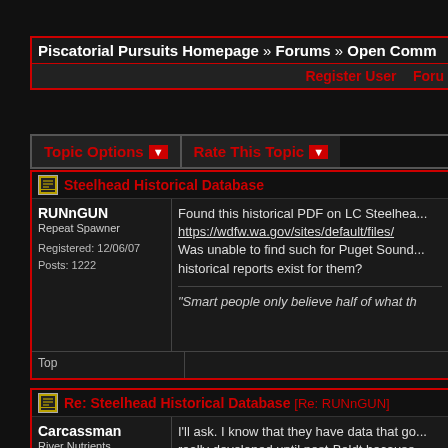Piscatorial Pursuits Homepage » Forums » Open Comm
Register User   Foru
Topic Options ▼   Rate This Topic ▼
Steelhead Historical Database
RUNnGUN
Repeat Spawner
Registered: 12/06/07
Posts: 1222
Found this historical PDF on LC Steelhea... https://wdfw.wa.gov/sites/default/files/... Was unable to find such for Puget Sound... historical reports exist for them?

"Smart people only believe half of what th
Top
Re: Steelhead Historical Database [Re: RUNnGUN]
Carcassman
River Nutrients
Registered: 11/21/07
Posts: 6725
Loc:
I'll ask. I know that they have data that go... really developed until post-Boldt because... so there was plenty of escapement.

I know it was a long tome ago, and it was... bases for catch and escapement for PS